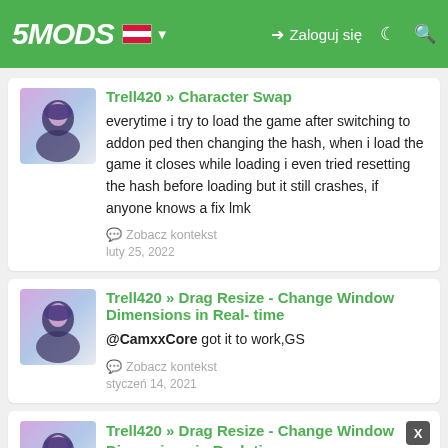5MODS — Zaloguj się
Trell420 » Character Swap — everytime i try to load the game after switching to addon ped then changing the hash, when i load the game it closes while loading i even tried resetting the hash before loading but it still crashes, if anyone knows a fix lmk — Zobacz kontekst — luty 25, 2022
Trell420 » Drag Resize - Change Window Dimensions in Real- time — @CamxxCore got it to work,GS — Zobacz kontekst — styczeń 14, 2021
Trell420 » Drag Resize - Change Window Dimensions in Real- time — @CamxxCore downloaded and im able to resize